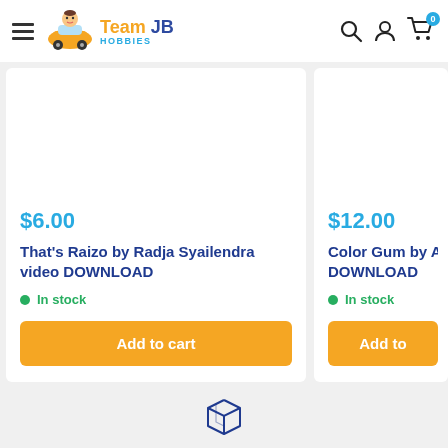Team JB Hobbies — Navigation header with hamburger menu, logo, search, account, and cart icons
$6.00
That's Raizo by Radja Syailendra video DOWNLOAD
In stock
Add to cart
$12.00
Color Gum by Asma... DOWNLOAD
In stock
Add to
[Figure (illustration): Box/package icon at the bottom center of the page, outline style in dark blue]